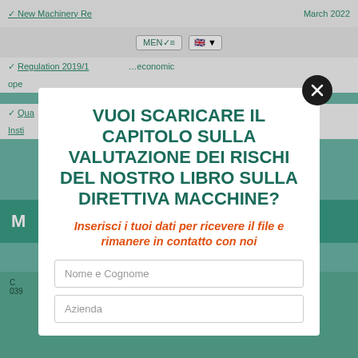[Figure (screenshot): Background website screenshot showing a teal/green webpage with navigation menu, list items with checkmarks, and footer with contact info]
VUOI SCARICARE IL CAPITOLO SULLA VALUTAZIONE DEI RISCHI DEL NOSTRO LIBRO SULLA DIRETTIVA MACCHINE?
Inserisci i tuoi dati per ricevere il file e rimanere in contatto con noi
Nome e Cognome
Azienda